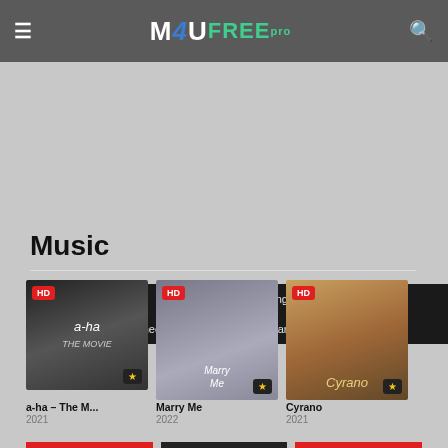M4UFREE.pro
Now Running | Top IMDB | Upcoming | Horror | Action | Comedy | Thriller | Oscar Winner
Music
[Figure (other): Movie poster for a-ha – The M... (2021), HD badge, star icon]
[Figure (other): Movie poster for Marry Me (2022), HD badge, star icon]
[Figure (other): Movie poster for Cyrano (2021), HD badge, star icon]
a-ha – The M...
2021
Marry Me
2022
Cyrano
2021